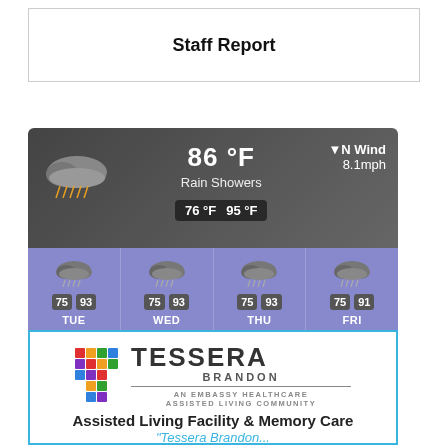Staff Report
[Figure (screenshot): Weather widget screenshot showing 86°F Rain Showers, N Wind 8.1mph, low 76°F high 95°F. Forecast: TUE 75/93, WED 75/93, THU 75/93, FRI 75/91. Timestamp: 5:56 PM Mon Aug 22. Source: WillyWeather.]
[Figure (illustration): Tessera Brandon advertisement — An Embassy Healthcare Assisted Living Community. Assisted Living Facility & Memory Care. 'Tessera Brandon...']